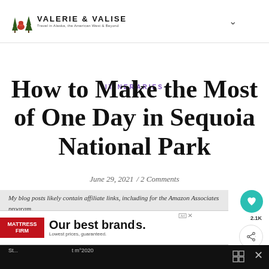VALERIE & VALISE — Travel in Alaska, the American West & Beyond
ITINERARIES
How to Make the Most of One Day in Sequoia National Park
June 29, 2021 / 2 Comments
My blog posts likely contain affiliate links, including for the Amazon Associates program.
If you click, book, or buy from one of these links, I may earn a commission. Read more in my Privacy Policy
[Figure (other): Mattress Firm advertisement banner: 'Our best brands. Lowest prices, guaranteed.']